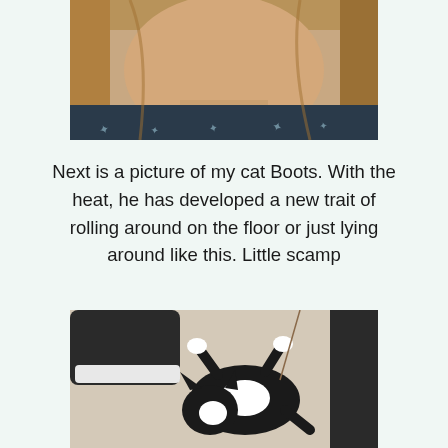[Figure (photo): Close-up photo of a woman from the shoulders up, wearing a dark navy top with a bird/swallow print pattern. She has blonde/brown hair. The photo is cropped at the neck/chin area.]
Next is a picture of my cat Boots. With the heat, he has developed a new trait of rolling around on the floor or just lying around like this. Little scamp
[Figure (photo): Photo of a black and white cat (Boots) lying on its back on a beige/cream carpet, with a dark shoe visible in the upper left corner.]